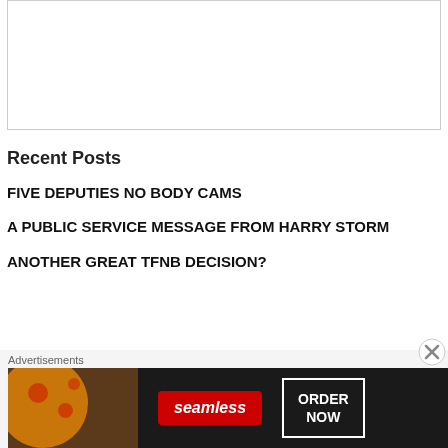[Figure (other): White empty box with border]
Recent Posts
FIVE DEPUTIES NO BODY CAMS
A PUBLIC SERVICE MESSAGE FROM HARRY STORM
ANOTHER GREAT TFNB DECISION?
[Figure (screenshot): Seamless food delivery advertisement banner with pizza image, red Seamless logo badge, and ORDER NOW button in white border box]
Advertisements